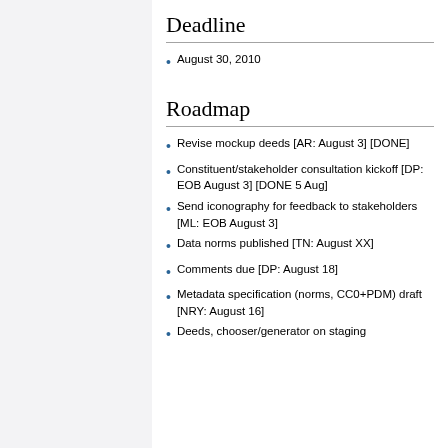Deadline
August 30, 2010
Roadmap
Revise mockup deeds [AR: August 3] [DONE]
Constituent/stakeholder consultation kickoff [DP: EOB August 3] [DONE 5 Aug]
Send iconography for feedback to stakeholders [ML: EOB August 3]
Data norms published [TN: August XX]
Comments due [DP: August 18]
Metadata specification (norms, CC0+PDM) draft [NRY: August 16]
Deeds, chooser/generator on staging